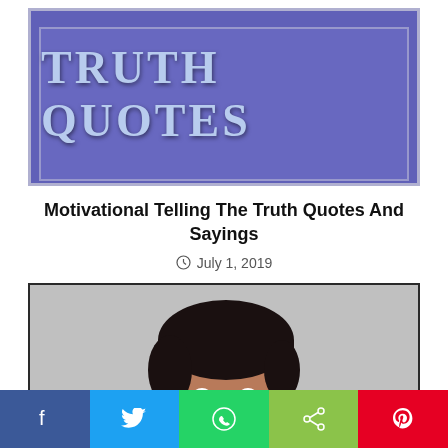[Figure (illustration): Purple/blue banner with white border and 'TRUTH QUOTES' text in large serif font]
Motivational Telling The Truth Quotes And Sayings
July 1, 2019
[Figure (photo): A man smiling and resting his chin/hand near his face against a grey background]
[Figure (infographic): Social share bar with Facebook, Twitter, WhatsApp, Share, and Pinterest buttons]